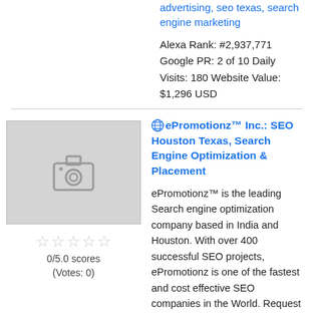advertising, seo texas, search engine marketing
Alexa Rank: #2,937,771 Google PR: 2 of 10 Daily Visits: 180 Website Value: $1,296 USD
[Figure (photo): Placeholder image with camera icon]
0/5.0 scores (Votes: 0)
🌐ePromotionz™ Inc.: SEO Houston Texas, Search Engine Optimization & Placement
ePromotionz™ is the leading Search engine optimization company based in India and Houston. With over 400 successful SEO projects, ePromotionz is one of the fastest and cost effective SEO companies in the World. Request for Free search engine optimization ...